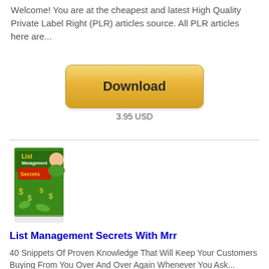Welcome! You are at the cheapest and latest High Quality Private Label Right (PLR) articles source. All PLR articles here are...
[Figure (other): Yellow Download button]
3.95 USD
[Figure (illustration): Book cover for List Management Secrets With Mrr - green book with person on cover]
List Management Secrets With Mrr
40 Snippets Of Proven Knowledge That Will Keep Your Customers Buying From You Over And Over Again Whenever You Ask...